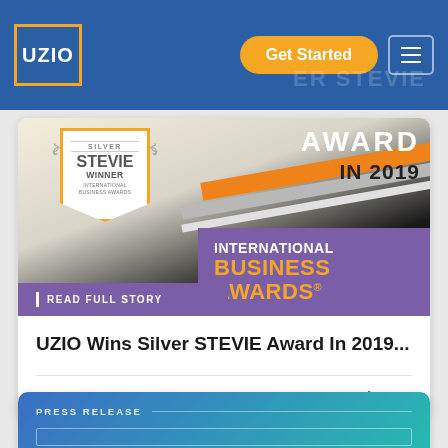UZIO | Get Started
[Figure (photo): Silver Stevie Award badge for International Business Awards 2019, with purple 'READ FULL STORY' banner overlay]
UZIO Wins Silver STEVIE Award In 2019...
August 13, 2019
Read more
PRESS RELEASE